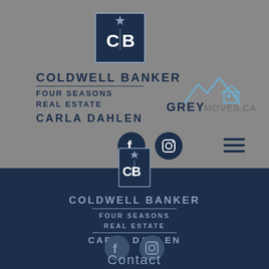[Figure (logo): Coldwell Banker CB logo square dark navy top section]
[Figure (logo): COLDWELL BANKER FOUR SEASONS REAL ESTATE CARLA DAHLEN branding text top left with GreyMoves.ca logo top right]
[Figure (logo): Social media icons Facebook and Instagram circles, hamburger menu]
[Figure (logo): CB Coldwell Banker logo square overlapping sections]
COLDWELL BANKER
FOUR SEASONS REAL ESTATE
CARLA DAHLEN
[Figure (logo): Facebook and Instagram social icons bottom dark section]
Contact